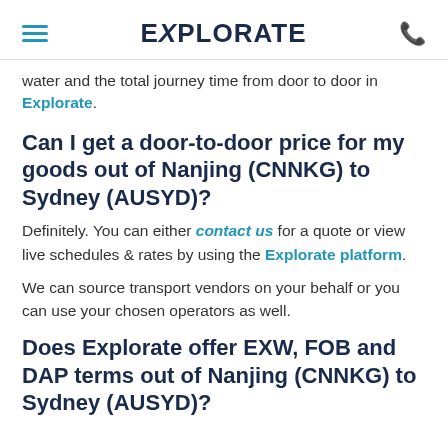EXPLORATE
water and the total journey time from door to door in Explorate.
Can I get a door-to-door price for my goods out of Nanjing (CNNKG) to Sydney (AUSYD)?
Definitely. You can either contact us for a quote or view live schedules & rates by using the Explorate platform.
We can source transport vendors on your behalf or you can use your chosen operators as well.
Does Explorate offer EXW, FOB and DAP terms out of Nanjing (CNNKG) to Sydney (AUSYD)?